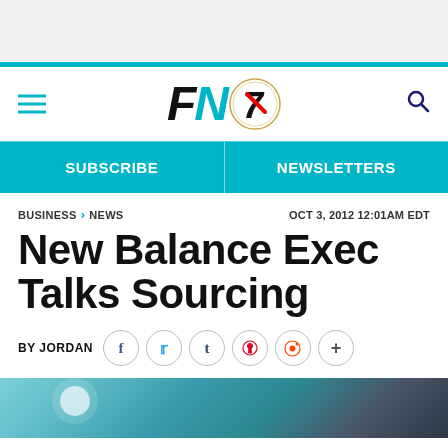[Figure (logo): FN7 logo with teal N and circular badge, hamburger menu and search icon]
SUBSCRIBE | NEWSLETTERS
BUSINESS › NEWS    OCT 3, 2012 12:01AM EDT
New Balance Exec Talks Sourcing
BY JORDAN
[Figure (photo): Close-up photo of hands holding a shoe, blurred background with teal and dark tones]